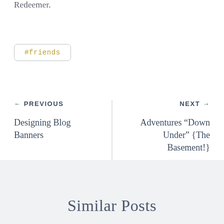Redeemer.
#friends
← PREVIOUS
Designing Blog Banners
NEXT →
Adventures “Down Under” {The Basement!}
Similar Posts